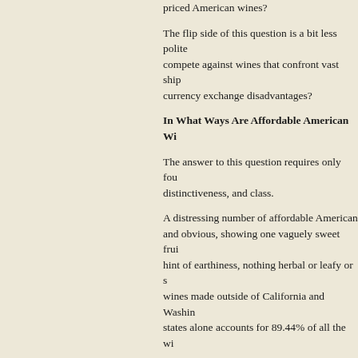priced American wines?
The flip side of this question is a bit less polite: compete against wines that confront vast ship currency exchange disadvantages?
In What Ways Are Affordable American Wi
The answer to this question requires only fou distinctiveness, and class.
A distressing number of affordable American and obvious, showing one vaguely sweet frui hint of earthiness, nothing herbal or leafy or s wines made outside of California and Washin states alone accounts for 89.44% of all the wi
The simplicity of most affordable American wi flavor, but texture as well. They are chronica tannin or acidity, and this applies to both whit and reds lacking "grip."
Distinctiveness is an exceedingly rare charac comparison to their counterparts from other n priced at $15 or $20 taste distinctively Chilea dried herbs that you may or may not like, but place. Many Argentine Malbecs announce th are and where they come from. Australian re overblown for your taste, but you know right a Tuscan IGT reds are clearly identifiable and u